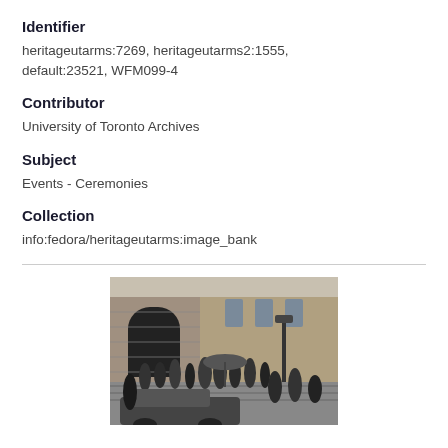Identifier
heritageutarms:7269, heritageutarms2:1555, default:23521, WFM099-4
Contributor
University of Toronto Archives
Subject
Events - Ceremonies
Collection
info:fedora/heritageutarms:image_bank
[Figure (photo): Black and white photograph of a ceremony outside a stone building with an arched entrance. Several people in formal attire are gathered on steps and around a car in the foreground. A lamp post is visible on the right side.]